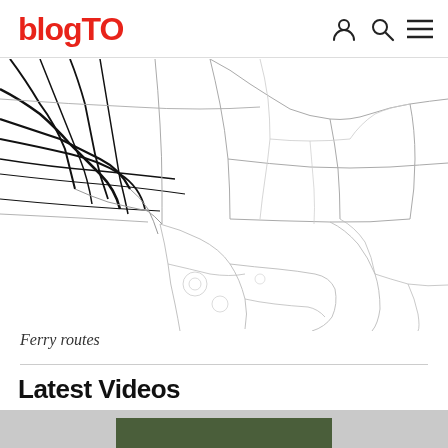blogTO
[Figure (map): Street/road map showing ferry routes and waterfront areas of Toronto, with black lines for major roads and light gray lines for secondary roads and district boundaries]
Ferry routes
Latest Videos
[Figure (photo): Video thumbnail strip, partially visible at bottom of page, showing a dark olive/green colored image]